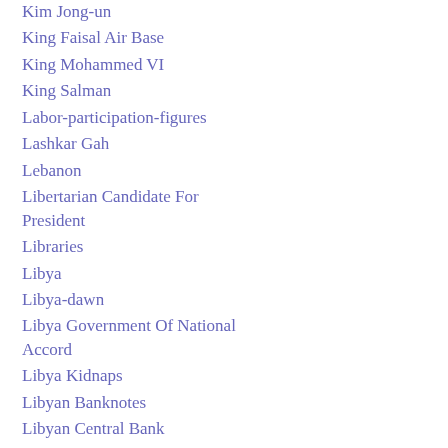Kim Jong-un
King Faisal Air Base
King Mohammed VI
King Salman
Labor-participation-figures
Lashkar Gah
Lebanon
Libertarian Candidate For President
Libraries
Libya
Libya-dawn
Libya Government Of National Accord
Libya Kidnaps
Libyan Banknotes
Libyan Central Bank
Libyan Government Of National